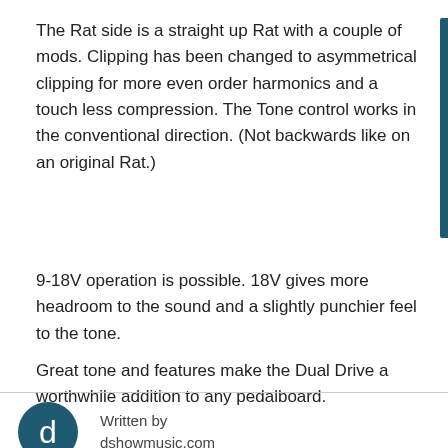The Rat side is a straight up Rat with a couple of mods. Clipping has been changed to asymmetrical clipping for more even order harmonics and a touch less compression. The Tone control works in the conventional direction. (Not backwards like on an original Rat.)
9-18V operation is possible. 18V gives more headroom to the sound and a slightly punchier feel to the tone.
Great tone and features make the Dual Drive a worthwhile addition to any pedalboard.
Written by
dshowmusic.com